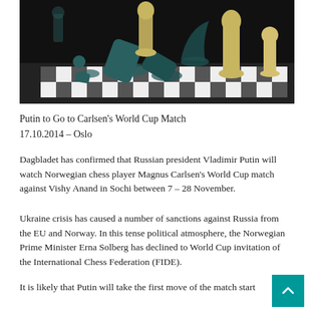[Figure (photo): Close-up photograph of chess pieces on a black and white chessboard — gold/cream colored pieces standing, dark teal/green pieces fallen over, dramatic dark background lighting.]
Putin to Go to Carlsen's World Cup Match
17.10.2014 – Oslo
Dagbladet has confirmed that Russian president Vladimir Putin will watch Norwegian chess player Magnus Carlsen's World Cup match against Vishy Anand in Sochi between 7 – 28 November.
Ukraine crisis has caused a number of sanctions against Russia from the EU and Norway. In this tense political atmosphere, the Norwegian Prime Minister Erna Solberg has declined to World Cup invitation of the International Chess Federation (FIDE).
It is likely that Putin will take the first move of the match starting November 8.